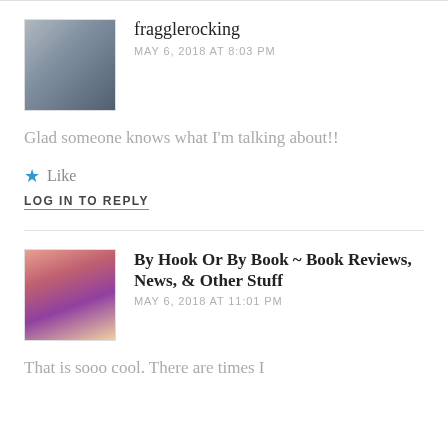fragglerocking
MAY 6, 2018 AT 8:03 PM
Glad someone knows what I'm talking about!!
Like
LOG IN TO REPLY
By Hook Or By Book ~ Book Reviews, News, & Other Stuff
MAY 6, 2018 AT 11:01 PM
That is sooo cool. There are times I